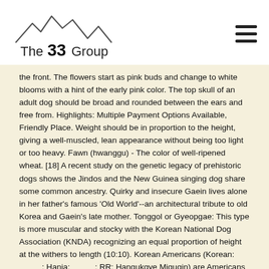[Figure (logo): The 33 Group logo with mountain outline silhouette above text reading 'The 33 Group']
the front. The flowers start as pink buds and change to white blooms with a hint of the early pink color. The top skull of an adult dog should be broad and rounded between the ears and free from. Highlights: Multiple Payment Options Available, Friendly Place. Weight should be in proportion to the height, giving a well-muscled, lean appearance without being too light or too heavy. Fawn (hwanggu) - The color of well-ripened wheat. [18] A recent study on the genetic legacy of prehistoric dogs shows the Jindos and the New Guinea singing dog share some common ancestry. Quirky and insecure Gaein lives alone in her father's famous 'Old World'--an architectural tribute to old Korea and Gaein's late mother. Tonggol or Gyeopgae: This type is more muscular and stocky with the Korean National Dog Association (KNDA) recognizing an equal proportion of height at the withers to length (10:10). Korean Americans (Korean:          ; Hanja:           ; RR: Hangukgye Migugin) are Americans of Korean ancestry (predominantly from South Korea (99%), with a very small minority from North Korea, China, Japan and the Post-Soviet states). The Korean American community constitutes about 0.6%